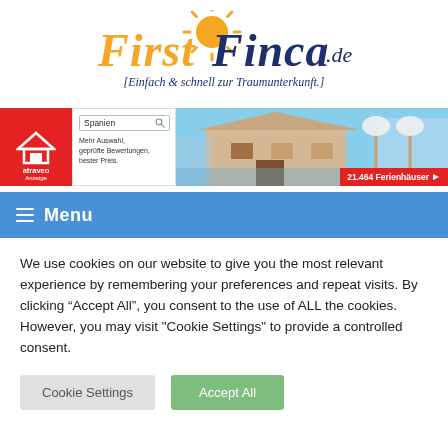[Figure (logo): FirstFinca.de logo with sun graphic and tagline [Einfach & schnell zur Traumunterkunft.]]
[Figure (screenshot): Atraveo advertisement banner showing a Spanish holiday house with search box for 'Spanien' and text '21.464 Ferienhäuser']
≡ Menu
We use cookies on our website to give you the most relevant experience by remembering your preferences and repeat visits. By clicking "Accept All", you consent to the use of ALL the cookies. However, you may visit "Cookie Settings" to provide a controlled consent.
Cookie Settings
Accept All